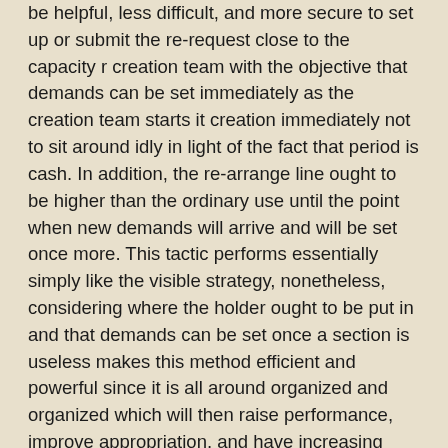be helpful, less difficult, and more secure to set up or submit the re-request close to the capacity r creation team with the objective that demands can be set immediately as the creation team starts it creation immediately not to sit around idly in light of the fact that period is cash. In addition, the re-arrange line ought to be higher than the ordinary use until the point when new demands will arrive and will be set once more. This tactic performs essentially simply like the visible strategy, nonetheless, considering where the holder ought to be put in and that demands can be set once a section is useless makes this method efficient and powerful since it is all around organized and organized which will then raise performance, improve appropriation, and have increasing prices of customers and get positive feedback.
Another strategy, the interminable inventory control strategy, enables directors to keep every day information of the inventory which features the quantity or the total sum of factors available, distributions, offers, and shops to guarantee the evaluate of income forecasts and ensure that there are no mix-ups in demands and invoices to stay away from client negative feedback and turnovers. With a specific objective to use the never-ending inventory control structure...